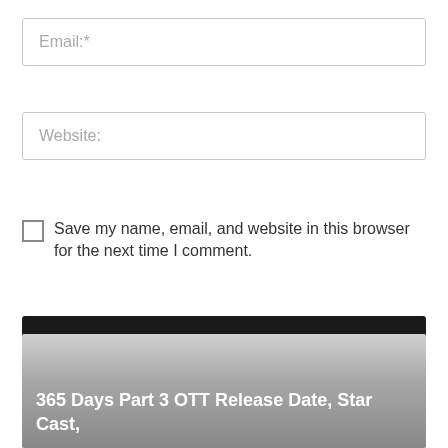Email:*
Website:
Save my name, email, and website in this browser for the next time I comment.
POST COMMENT
[Figure (photo): Article thumbnail image with gradient overlay showing partial title text '365 Days Part 3 OTT Release Date, Star Cast,']